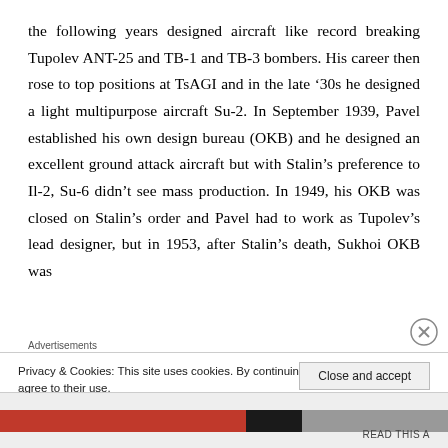the following years designed aircraft like record breaking Tupolev ANT-25 and TB-1 and TB-3 bombers. His career then rose to top positions at TsAGI and in the late ’30s he designed a light multipurpose aircraft Su-2. In September 1939, Pavel established his own design bureau (OKB) and he designed an excellent ground attack aircraft but with Stalin’s preference to Il-2, Su-6 didn’t see mass production. In 1949, his OKB was closed on Stalin’s order and Pavel had to work as Tupolev’s lead designer, but in 1953, after Stalin’s death, Sukhoi OKB was
Advertisements
Privacy & Cookies: This site uses cookies. By continuing to use this website, you agree to their use.
To find out more, including how to control cookies, see here: Cookie Policy
Close and accept